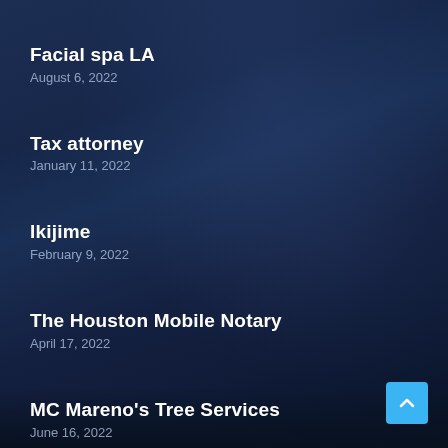Facial spa LA
August 6, 2022
Tax attorney
January 11, 2022
Ikijime
February 9, 2022
The Houston Mobile Notary
April 17, 2022
MC Mareno's Tree Services
June 16, 2022